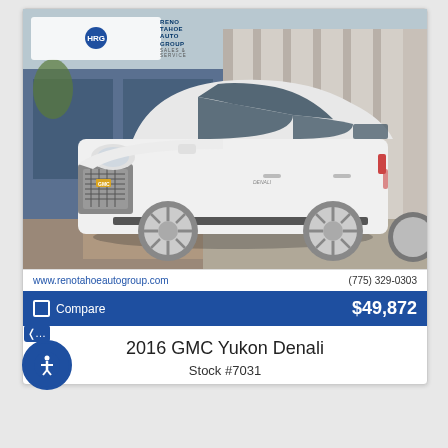[Figure (photo): White 2016 GMC Yukon Denali SUV photographed at Reno Tahoe Auto Group dealership, front three-quarter view, chrome wheels, dealer logo in upper left corner]
www.renotahoeautogroup.com
(775) 329-0303
Compare
$49,872
2016 GMC Yukon Denali
Stock #7031